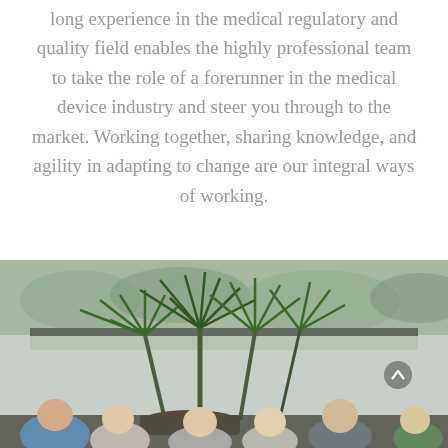long experience in the medical regulatory and quality field enables the highly professional team to take the role of a forerunner in the medical device industry and steer you through to the market. Working together, sharing knowledge, and agility in adapting to change are our integral ways of working.
[Figure (photo): Office meeting scene showing a group of people seated around a table with tall indoor plants (dracaena/yucca) in the background near large windows overlooking outdoor greenery.]